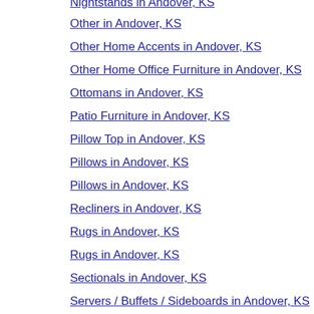Nightstands in Andover, KS
Other in Andover, KS
Other Home Accents in Andover, KS
Other Home Office Furniture in Andover, KS
Ottomans in Andover, KS
Patio Furniture in Andover, KS
Pillow Top in Andover, KS
Pillows in Andover, KS
Pillows in Andover, KS
Recliners in Andover, KS
Rugs in Andover, KS
Rugs in Andover, KS
Sectionals in Andover, KS
Servers / Buffets / Sideboards in Andover, KS